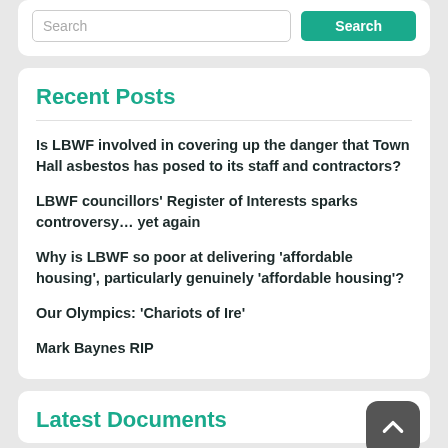[Figure (screenshot): Search bar with text input placeholder 'Search' and a teal 'Search' button]
Recent Posts
Is LBWF involved in covering up the danger that Town Hall asbestos has posed to its staff and contractors?
LBWF councillors' Register of Interests sparks controversy… yet again
Why is LBWF so poor at delivering 'affordable housing', particularly genuinely 'affordable housing'?
Our Olympics: 'Chariots of Ire'
Mark Baynes RIP
Latest Documents